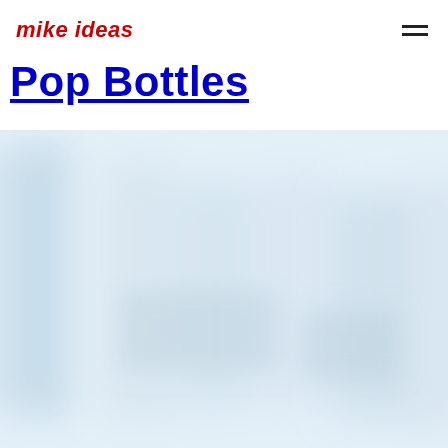mike ideas
Pop Bottles
[Figure (photo): Blurred, soft-focus photograph of clear glass or plastic bottles arranged on a surface, predominantly light blue and white tones, very defocused and abstract looking]